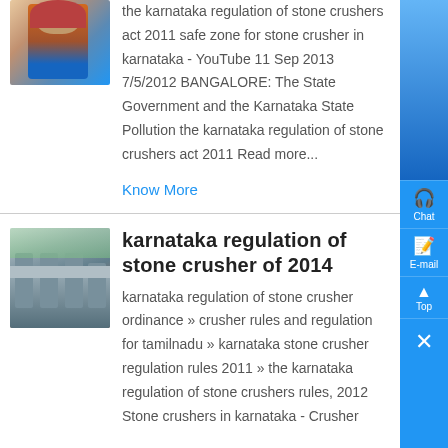[Figure (photo): Person wearing headscarf, partial view at top of card]
the karnataka regulation of stone crushers act 2011 safe zone for stone crusher in karnataka - YouTube 11 Sep 2013 7/5/2012 BANGALORE: The State Government and the Karnataka State Pollution the karnataka regulation of stone crushers act 2011 Read more...
Know More
karnataka regulation of stone crusher of 2014
[Figure (photo): Industrial stone crusher machinery/plant photo]
karnataka regulation of stone crusher ordinance » crusher rules and regulation for tamilnadu » karnataka stone crusher regulation rules 2011 » the karnataka regulation of stone crushers rules, 2012 Stone crushers in karnataka - Crusher